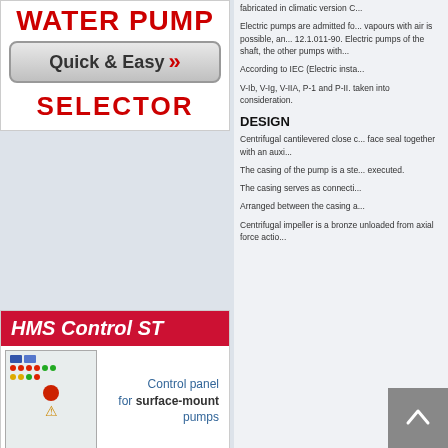[Figure (infographic): Water Pump Quick & Easy Selector advertisement banner with red title text and button]
[Figure (infographic): HMS Control ST advertisement showing control panel for surface-mount pumps]
fabricated in climatic version C...
Electric pumps are admitted fo... vapours with air is possible, an... 12.1.011-90. Electric pumps of the shaft, the other pumps with...
According to IEC (Electric insta...
V-Ib, V-Ig, V-IIA, P-1 and P-II. taken into consideration.
DESIGN
Centrifugal cantilevered close c... face seal together with an auxi...
The casing of the pump is a ste... executed.
The casing serves as connecti...
Arranged between the casing a...
Centrifugal impeller is a bronze unloaded from axial force actio...